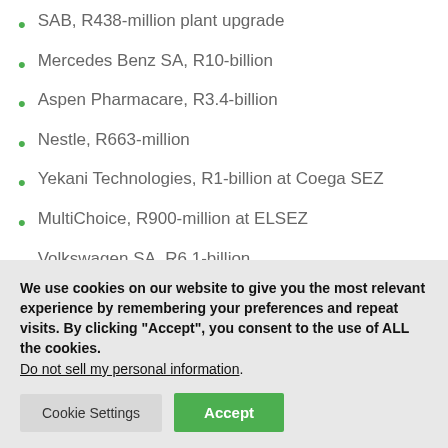SAB, R438-million plant upgrade
Mercedes Benz SA, R10-billion
Aspen Pharmacare, R3.4-billion
Nestle, R663-million
Yekani Technologies, R1-billion at Coega SEZ
MultiChoice, R900-million at ELSEZ
Volkswagen SA, R6.1-billion
We use cookies on our website to give you the most relevant experience by remembering your preferences and repeat visits. By clicking “Accept”, you consent to the use of ALL the cookies. Do not sell my personal information.